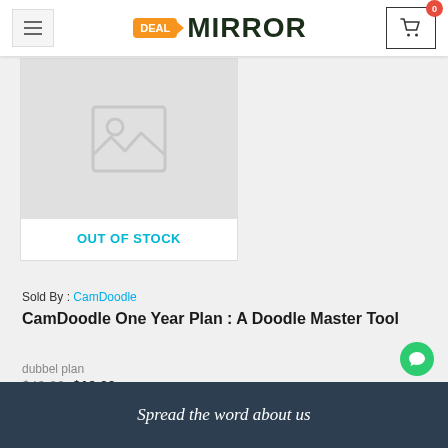Deal Mirror – navigation header with logo and cart
[Figure (screenshot): Product placeholder image (no image available icon) with OUT OF STOCK label]
Sold By : CamDoodle
CamDoodle One Year Plan : A Doodle Master Tool
dubbel plan
$49.00 $19.00
★★★★★ (0 rating stars)
Spread the word about us